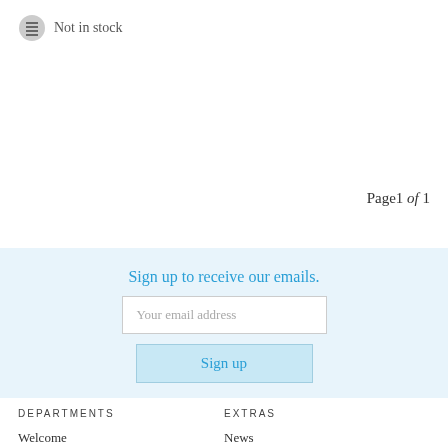Not in stock
Page 1 of 1
Sign up to receive our emails.
Your email address
Sign up
DEPARTMENTS
Welcome
Books
Music
Film
Kids
Bargains
EXTRAS
News
Reviews
Events
Gift Cards
Wishlists
The Readings Kids' Book Subscription
Book subscriptions at Readings